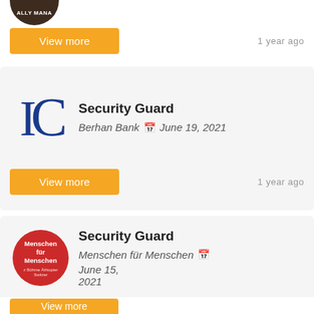[Figure (logo): Partially visible circular dark brown logo with text 'ALLY MANA' visible]
View more
1 year ago
[Figure (logo): Berhan Bank logo showing stylized letters IC in dark blue]
Security Guard
Berhan Bank  📅  June 19, 2021
View more
1 year ago
[Figure (logo): Menschen für Menschen circular red logo with white text]
Security Guard
Menschen für Menschen  📅  June 15, 2021
View more